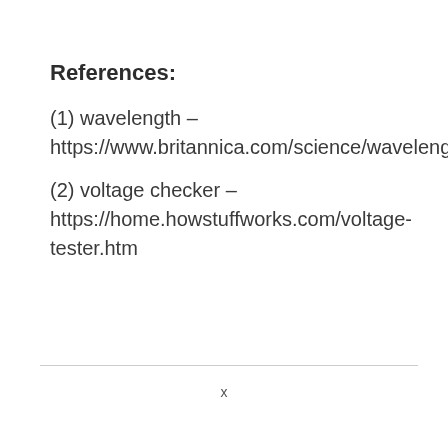References:
(1) wavelength – https://www.britannica.com/science/wavelength
(2) voltage checker – https://home.howstuffworks.com/voltage-tester.htm
x